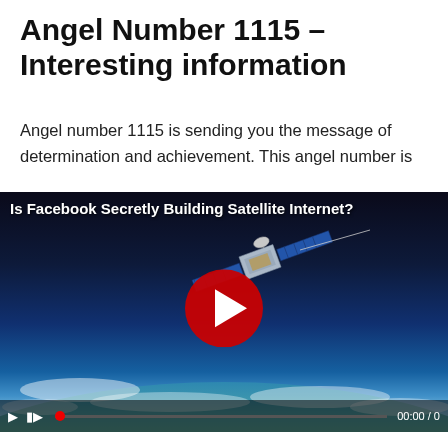Angel Number 1115 – Interesting information
Angel number 1115 is sending you the message of determination and achievement. This angel number is
[Figure (screenshot): Video thumbnail showing a satellite orbiting Earth with a red play button overlay. Title reads 'Is Facebook Secretly Building Satellite Internet?' with video controls showing 00:00 / 0 at the bottom.]